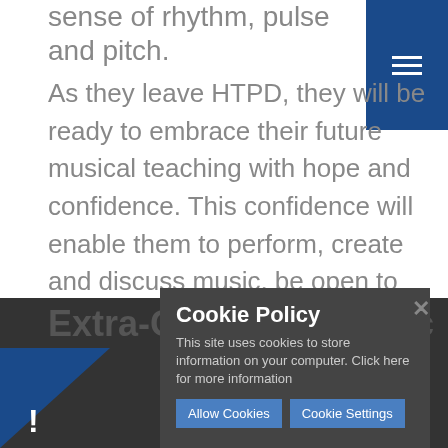perform with a sense of rhythm, pulse and pitch.
As they leave HTPD, they will be ready to embrace their future musical teaching with hope and confidence. This confidence will enable them to perform, create and discuss music, be open to listening to a wide range of music with an understanding of different cultures, traditions and opinions.
Extra-Curricular Music
Cookie Policy
This site uses cookies to store information on your computer. Click here for more information
Allow Cookies   Cookie Settings